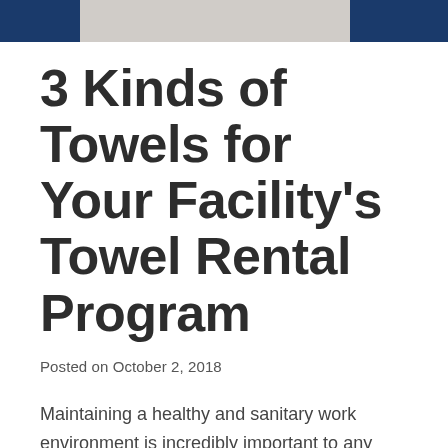[Figure (photo): Top image strip showing towels/laundry items with dark navy blue borders on left and right sides]
3 Kinds of Towels for Your Facility's Towel Rental Program
Posted on October 2, 2018
Maintaining a healthy and sanitary work environment is incredibly important to any facility.